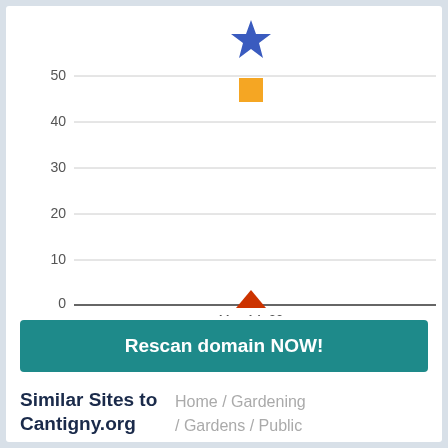[Figure (scatter-plot): ]
Rescan domain NOW!
Similar Sites to Cantigny.org
Home / Gardening / Gardens / Public / United States / Illinois